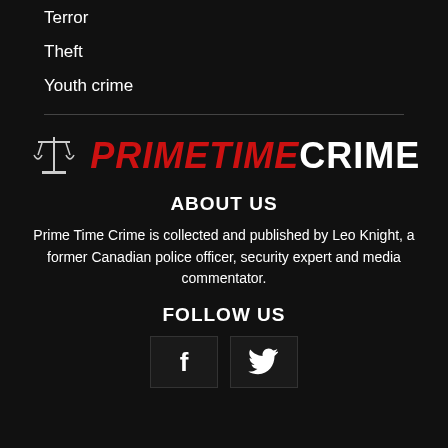Terror
Theft
Youth crime
[Figure (logo): Prime Time Crime logo with scales of justice icon and PRIMETIME in red italic and CRIME in white bold uppercase text]
ABOUT US
Prime Time Crime is collected and published by Leo Knight, a former Canadian police officer, security expert and media commentator.
FOLLOW US
[Figure (other): Social media icons: Facebook (f) and Twitter (bird) in dark boxes]